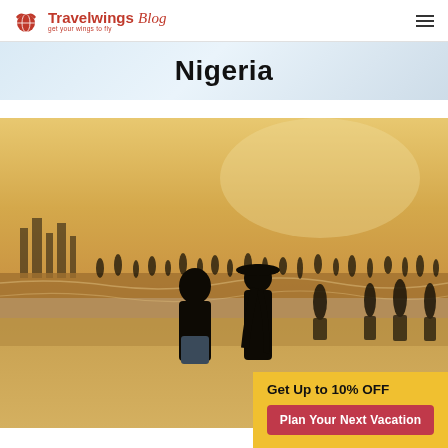Travelwings Blog — get your wings to fly
Nigeria
[Figure (photo): People on a beach at sunset/golden hour; two figures stand in the foreground near the water, with many more people visible in the background against a skyline silhouette]
Get Up to 10% OFF
Plan Your Next Vacation